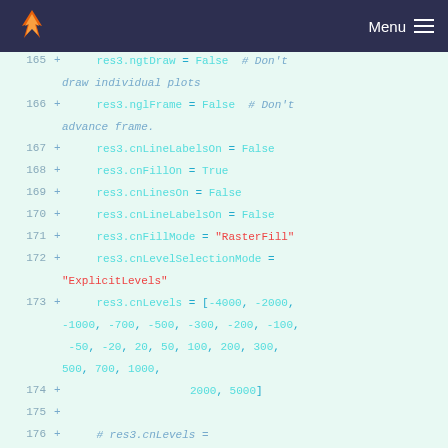Menu
165 + res3.ngtDraw = False  # Don't draw individual plots
166 + res3.nglFrame = False  # Don't advance frame.
167 + res3.cnLineLabelsOn = False
168 + res3.cnFillOn = True
169 + res3.cnLinesOn = False
170 + res3.cnLineLabelsOn = False
171 + res3.cnFillMode = "RasterFill"
172 + res3.cnLevelSelectionMode = "ExplicitLevels"
173 + res3.cnLevels = [-4000, -2000, -1000, -700, -500, -300, -200, -100, -50, -20, 20, 50, 100, 200, 300, 500, 700, 1000,
174 +                   2000, 5000]
175 +
176 +     # res3.cnLevels = np.arange(-1000, 1000, 200)
177 + res3.lbLabelBarOn = True  # Turn on labelbar.